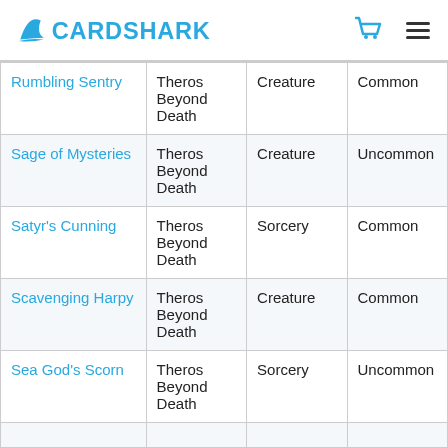CARDSHARK
| Name | Set | Type | Rarity |
| --- | --- | --- | --- |
| Rumbling Sentry | Theros Beyond Death | Creature | Common |
| Sage of Mysteries | Theros Beyond Death | Creature | Uncommon |
| Satyr's Cunning | Theros Beyond Death | Sorcery | Common |
| Scavenging Harpy | Theros Beyond Death | Creature | Common |
| Sea God's Scorn | Theros Beyond Death | Sorcery | Uncommon |
|  |  |  |  |